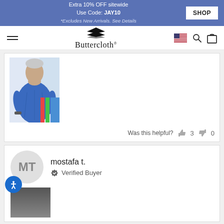Extra 10% OFF sitewide
Use Code: JAY10
*Excludes New Arrivals. See Details
SHOP
[Figure (logo): Buttercloth brand logo with chevron-style icon and brand name]
[Figure (photo): Man wearing blue t-shirt, product review photo]
Was this helpful? 👍 3 👎 0
[Figure (photo): Avatar circle with initials MT for reviewer mostafa t.]
mostafa t.
✓ Verified Buyer